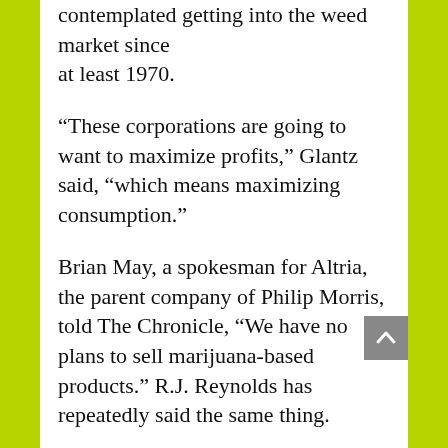contemplated getting into the weed market since at least 1970.
“These corporations are going to want to maximize profits,” Glantz said, “which means maximizing consumption.”
Brian May, a spokesman for Altria, the parent company of Philip Morris, told The Chronicle, “We have no plans to sell marijuana-based products.” R.J. Reynolds has repeatedly said the same thing.
Richard Miadich, legal counsel for the Yes on Prop. 64 campaign, said the concerns about Big Tobacco are unfounded given the measure’s protections against